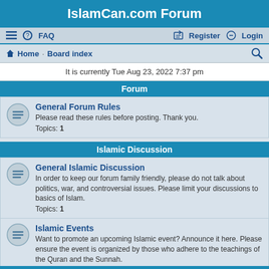IslamCan.com Forum
≡  FAQ    Register  Login
Home · Board index
It is currently Tue Aug 23, 2022 7:37 pm
Forum
General Forum Rules
Please read these rules before posting. Thank you.
Topics: 1
Islamic Discussion
General Islamic Discussion
In order to keep our forum family friendly, please do not talk about politics, war, and controversial issues. Please limit your discussions to basics of Islam.
Topics: 1
Islamic Events
Want to promote an upcoming Islamic event? Announce it here. Please ensure the event is organized by those who adhere to the teachings of the Quran and the Sunnah.
Requests for Dua
Are you or someone you know facing difficulties? This is the place where you can ask others to make dua.